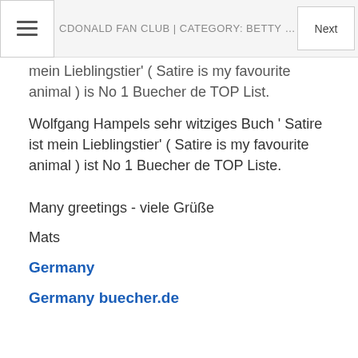MCDONALD FAN CLUB | CATEGORY: BETTY MACDONALD AND H... Next
mein Lieblingstier' ( Satire is my favourite animal ) is No 1 Buecher de TOP List.
Wolfgang Hampels sehr witziges Buch ' Satire ist mein Lieblingstier' ( Satire is my favourite animal ) ist No 1 Buecher de TOP Liste.
Many greetings - viele Grüße
Mats
Germany
Germany buecher.de